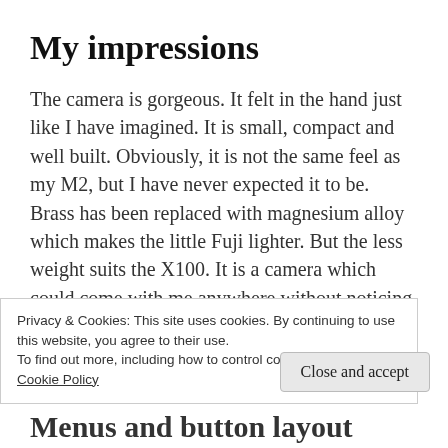My impressions
The camera is gorgeous. It felt in the hand just like I have imagined. It is small, compact and well built. Obviously, it is not the same feel as my M2, but I have never expected it to be. Brass has been replaced with magnesium alloy which makes the little Fuji lighter. But the less weight suits the X100. It is a camera which could come with me anywhere without noticing it much. I think this is probably the
Privacy & Cookies: This site uses cookies. By continuing to use this website, you agree to their use.
To find out more, including how to control cookies, see here:
Cookie Policy
Close and accept
Menus and button layout